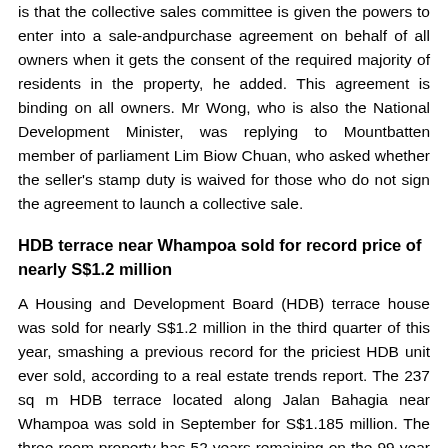is that the collective sales committee is given the powers to enter into a sale-andpurchase agreement on behalf of all owners when it gets the consent of the required majority of residents in the property, he added. This agreement is binding on all owners. Mr Wong, who is also the National Development Minister, was replying to Mountbatten member of parliament Lim Biow Chuan, who asked whether the seller's stamp duty is waived for those who do not sign the agreement to launch a collective sale.
HDB terrace near Whampoa sold for record price of nearly S$1.2 million
A Housing and Development Board (HDB) terrace house was sold for nearly S$1.2 million in the third quarter of this year, smashing a previous record for the priciest HDB unit ever sold, according to a real estate trends report. The 237 sq m HDB terrace located along Jalan Bahagia near Whampoa was sold in September for S$1.185 million. The three-room property has 52 years remaining on the 99-year lease, which began in 1972. There are only 285 of such terrace properties in Singapore. Over the past five years, 63 HDB terrace homes have been